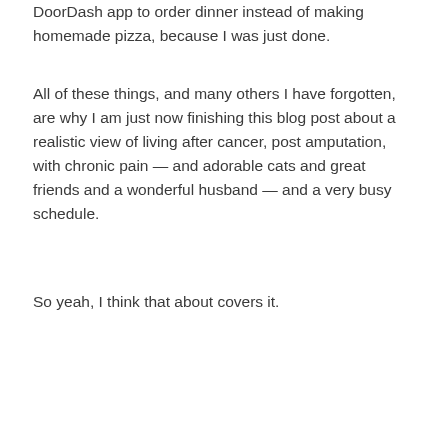DoorDash app to order dinner instead of making homemade pizza, because I was just done.
All of these things, and many others I have forgotten, are why I am just now finishing this blog post about a realistic view of living after cancer, post amputation, with chronic pain — and adorable cats and great friends and a wonderful husband — and a very busy schedule.
So yeah, I think that about covers it.